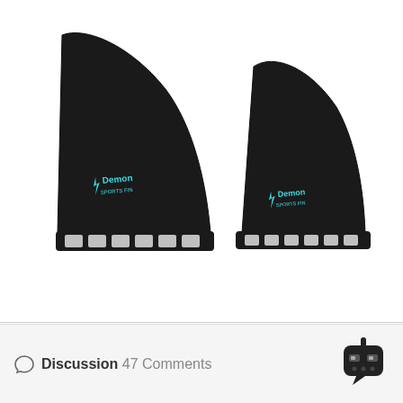[Figure (photo): Two black surfboard fins with Demon brand logo in teal/cyan color. The fins are positioned side by side on a white background. Each fin has a row of rectangular slots along the base for attachment. The fins are tall with a swept-back profile.]
Discussion 47 Comments